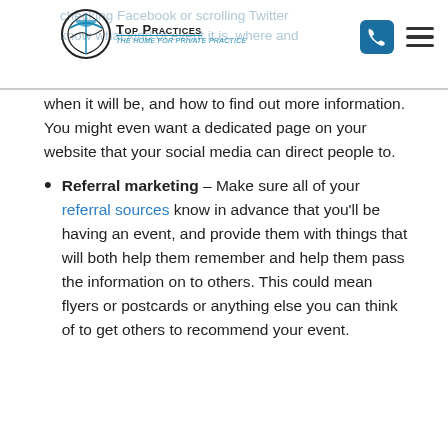Top Practices – The Home for Private Practice
when it will be, and how to find out more information. You might even want a dedicated page on your website that your social media can direct people to.
Referral marketing – Make sure all of your referral sources know in advance that you'll be having an event, and provide them with things that will both help them remember and help them pass the information on to others. This could mean flyers or postcards or anything else you can think of to get others to recommend your event.